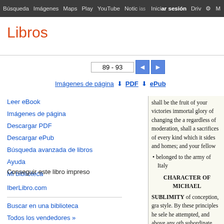Búsqueda  Imágenes  Maps  Play  YouTube  Noticias  Iniciar sesión  Drive  ⚙  M
Libros
89 - 93
Imágenes de página   ⬇ PDF   ⬇ ePub
Leer eBook
Imágenes de página
Descargar PDF
Descargar ePub
Búsqueda avanzada de libros
Ayuda
Mi biblioteca
Conseguir este libro impreso
IberLibro.com
Buscar en una biblioteca
Todos los vendedores »
shall be the fruit of your victories immortal glory of changing the a regardless of moderation, shall a sacrifices of every kind which it sides and homes; and your fellow
• belonged to the army of Italy
CHARACTER OF MICHAEL
SUBLIMITY of conception, gra style. By these principles he sele he attempted, and above any oth subordinate parts with the utmos
His line is uniformly grand. Cha